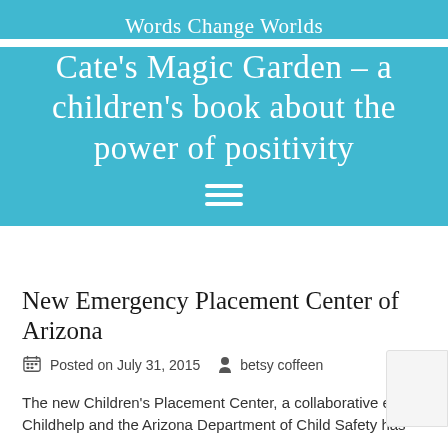Words Change Worlds
Cate's Magic Garden – a children's book about the power of positivity
New Emergency Placement Center of Arizona
Posted on July 31, 2015   betsy coffeen
The new Children's Placement Center, a collaborative effort Childhelp and the Arizona Department of Child Safety has